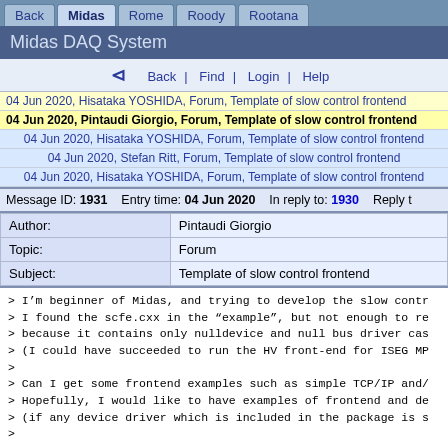Back | Midas | Rome | Roody | Rootana
Midas DAQ System
Back | Find | Login | Help
04 Jun 2020, Hisataka YOSHIDA, Forum, Template of slow control frontend
04 Jun 2020, Pintaudi Giorgio, Forum, Template of slow control frontend
04 Jun 2020, Hisataka YOSHIDA, Forum, Template of slow control frontend
04 Jun 2020, Stefan Ritt, Forum, Template of slow control frontend
04 Jun 2020, Hisataka YOSHIDA, Forum, Template of slow control frontend
Message ID: 1931   Entry time: 04 Jun 2020   In reply to: 1930   Reply
| Field | Value |
| --- | --- |
| Author: | Pintaudi Giorgio |
| Topic: | Forum |
| Subject: | Template of slow control frontend |
> I'm beginner of Midas, and trying to develop the slow contr
> I found the scfe.cxx in the "example", but not enough to re
> because it contains only nulldevice and null bus driver case
> (I could have succeeded to run the HV front-end for ISEG MP
>
> Can I get some frontend examples such as simple TCP/IP and/
> Hopefully, I would like to have examples of frontend and de
> (if any device driver which is included in the package is s
>
> Thanks a lot.

Dear Yoshida-san,
my name is Giorgio and I am a Ph.D. student working on the T2